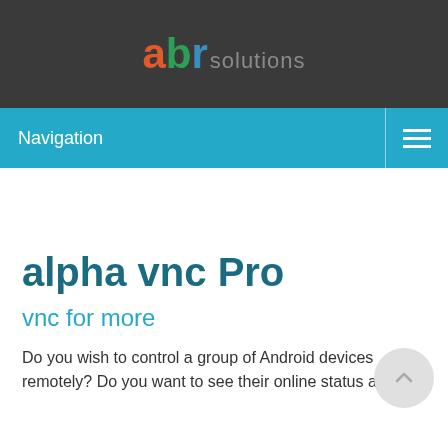[Figure (logo): ABR Solutions logo with 'a' in orange, 'b' in green, 'r' in blue, and 'solutions' in grey on a dark background]
Navigation
alpha vnc Pro
vnc for more
Do you wish to control a group of Android devices remotely? Do you want to see their online status and